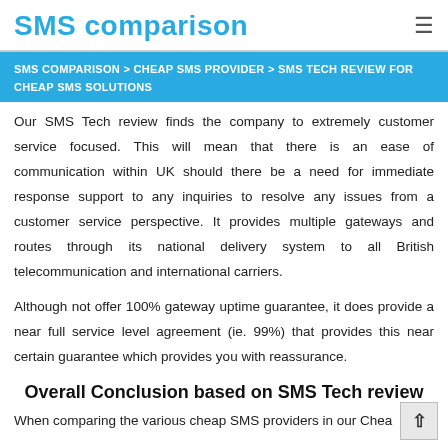SMS comparison
SMS COMPARISON > CHEAP SMS PROVIDER > SMS TECH REVIEW FOR CHEAP SMS SOLUTIONS
Our SMS Tech review finds the company to extremely customer service focused. This will mean that there is an ease of communication within UK should there be a need for immediate response support to any inquiries to resolve any issues from a customer service perspective. It provides multiple gateways and routes through its national delivery system to all British telecommunication and international carriers.
Although not offer 100% gateway uptime guarantee, it does provide a near full service level agreement (ie. 99%) that provides this near certain guarantee which provides you with reassurance.
Overall Conclusion based on SMS Tech review
When comparing the various cheap SMS providers in our Chea